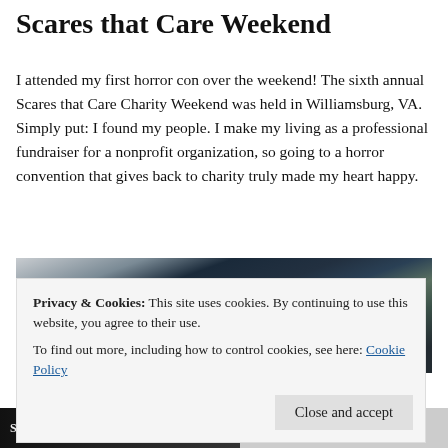Scares that Care Weekend
I attended my first horror con over the weekend! The sixth annual Scares that Care Charity Weekend was held in Williamsburg, VA. Simply put: I found my people. I make my living as a professional fundraiser for a nonprofit organization, so going to a horror convention that gives back to charity truly made my heart happy.
[Figure (photo): A partially visible open book or booklet with dark teal/black spine and glossy pages, on a surface, possibly convention program]
Privacy & Cookies: This site uses cookies. By continuing to use this website, you agree to their use.
To find out more, including how to control cookies, see here: Cookie Policy
[Figure (photo): Bottom strip showing partial view of Scares that Care logo/signage and a label reading Vodka, Blue Curaca]